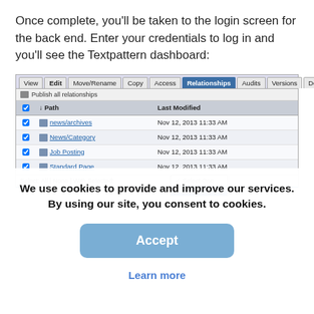Once complete, you'll be taken to the login screen for the back end. Enter your credentials to log in and you'll see the Textpattern dashboard:
[Figure (screenshot): Screenshot of a Textpattern CMS interface showing the Relationships tab selected in a navigation bar with tabs: View, Edit, Move/Rename, Copy, Access, Relationships, Audits, Versions, Delete. Below is a table with columns Path and Last Modified showing four rows: news/archives, News/Category, Job Posting, Standard Page, all dated Nov 12, 2013 11:33 AM. A dropdown is visible with 'Select One' and a highlighted 'Publish' option.]
We use cookies to provide and improve our services. By using our site, you consent to cookies.
Accept
Learn more